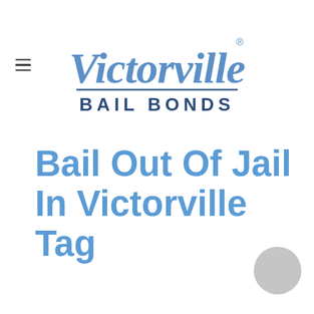[Figure (logo): Victorville Bail Bonds logo — stylized script text 'Victorville' with registered trademark symbol, and 'BAIL BONDS' in bold capital letters below, in blue tones]
Bail Out Of Jail In Victorville Tag